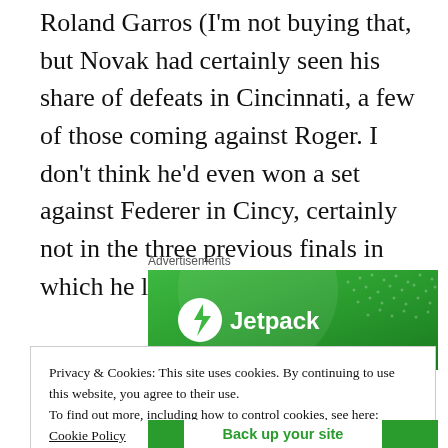Roland Garros (I'm not buying that, but Novak had certainly seen his share of defeats in Cincinnati, a few of those coming against Roger. I don't think he'd even won a set against Federer in Cincy, certainly not in the three previous finals in which he lost).
[Figure (other): Jetpack advertisement banner with green gradient background, circular logo with lightning bolt, and 'Jetpack' text]
Privacy & Cookies: This site uses cookies. By continuing to use this website, you agree to their use.
To find out more, including how to control cookies, see here: Cookie Policy
Close and accept
Back up your site